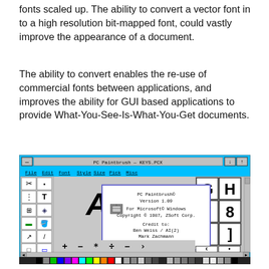fonts scaled up. The ability to convert a vector font in to a high resolution bit-mapped font, could vastly improve the appearance of a document.
The ability to convert enables the re-use of commercial fonts between applications, and improves the ability for GUI based applications to provide What-You-See-Is-What-You-Get documents.
[Figure (screenshot): Screenshot of PC Paintbrush application (Version 1.09) for Microsoft Windows, showing a dialog box with copyright information: 'PC Paintbrush© Version 1.09, For Microsoft© Windows, Copyright © 1987, ZSoft Corp. Credit to: Ben Weiss / AI(2), Mark Zachmann' with an OK button. The application shows a toolbar on the left, a font character palette on the right showing letters A, G, H, 1, 7, 8, and mathematical symbols, and a color palette at the bottom.]